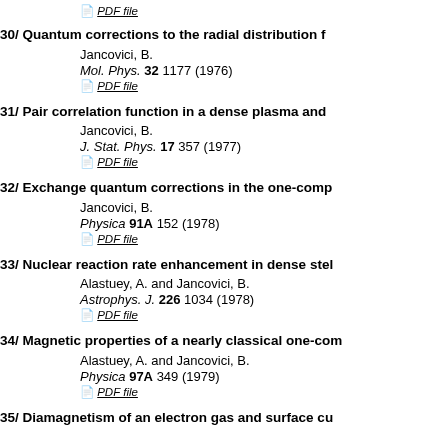PDF file (top link)
30/ Quantum corrections to the radial distribution f
Jancovici, B.
Mol. Phys. 32 1177 (1976)
PDF file
31/ Pair correlation function in a dense plasma and
Jancovici, B.
J. Stat. Phys. 17 357 (1977)
PDF file
32/ Exchange quantum corrections in the one-comp
Jancovici, B.
Physica 91A 152 (1978)
PDF file
33/ Nuclear reaction rate enhancement in dense stel
Alastuey, A. and Jancovici, B.
Astrophys. J. 226 1034 (1978)
PDF file
34/ Magnetic properties of a nearly classical one-com
Alastuey, A. and Jancovici, B.
Physica 97A 349 (1979)
PDF file
35/ Diamagnetism of an electron gas and surface cu